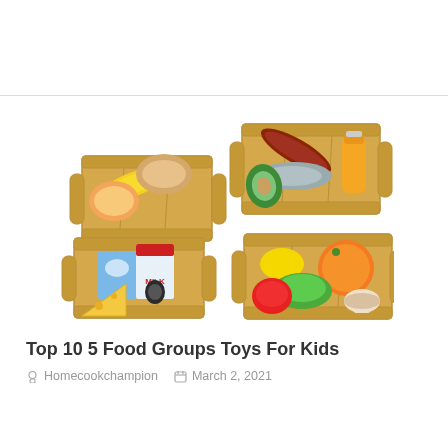[Figure (photo): Wooden toy food crates containing colorful toy foods representing five food groups: grains/bread, proteins/meat/fish, dairy (milk carton, cheese), fruits and vegetables organized in four small wooden crates]
Top 10 5 Food Groups Toys For Kids
Homecookchampion   March 2, 2021